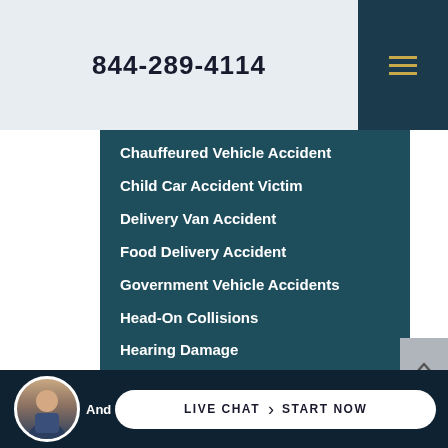844-289-4114
Chauffeured Vehicle Accident
Child Car Accident Victim
Delivery Van Accident
Food Delivery Accident
Government Vehicle Accidents
Head-On Collisions
Hearing Damage
Highway Construction Accident
And
LIVE CHAT  START NOW